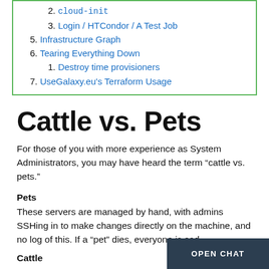2. cloud-init
3. Login / HTCondor / A Test Job
5. Infrastructure Graph
6. Tearing Everything Down
1. Destroy time provisioners
7. UseGalaxy.eu's Terraform Usage
Cattle vs. Pets
For those of you with more experience as System Administrators, you may have heard the term “cattle vs. pets.”
Pets
These servers are managed by hand, with admins SSHing in to make changes directly on the machine, and no log of this. If a “pet” dies, everyone is sad.
Cattle
These servers are managed in bulk, yo